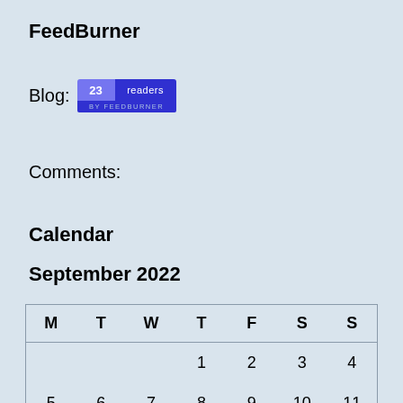FeedBurner
Blog: [23 readers BY FEEDBURNER badge]
Comments:
Calendar
September 2022
| M | T | W | T | F | S | S |
| --- | --- | --- | --- | --- | --- | --- |
|  |  |  | 1 | 2 | 3 | 4 |
| 5 | 6 | 7 | 8 | 9 | 10 | 11 |